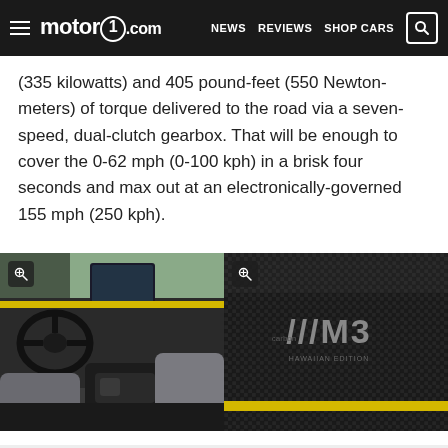motor1.com  NEWS  REVIEWS  SHOP CARS
(335 kilowatts) and 405 pound-feet (550 Newton-meters) of torque delivered to the road via a seven-speed, dual-clutch gearbox. That will be enough to cover the 0-62 mph (0-100 kph) in a brisk four seconds and max out at an electronically-governed 155 mph (250 kph).
[Figure (photo): Two side-by-side interior photos of a BMW M3. Left: cockpit view showing steering wheel, infotainment screen, yellow trim accent stripe, and center console. Right: close-up of carbon fiber dashboard trim with BMW ///M3 badge and yellow stripe, labeled 'Hawaiian Edition'.]
Read also:
2016 BMW M3 Review: A broken